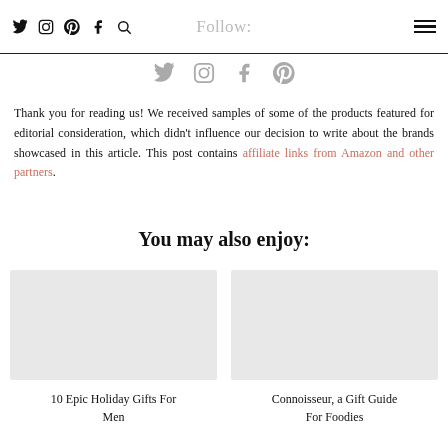Follow:
[Figure (other): Social media icons row: Twitter, Instagram, Facebook, Pinterest]
Thank you for reading us! We received samples of some of the products featured for editorial consideration, which didn't influence our decision to write about the brands showcased in this article. This post contains affiliate links from Amazon and other partners.
You may also enjoy:
[Figure (photo): Thumbnail image for article: 10 Epic Holiday Gifts For Men]
10 Epic Holiday Gifts For Men
[Figure (photo): Thumbnail image for article: Connoisseur, a Gift Guide For Foodies]
Connoisseur, a Gift Guide For Foodies